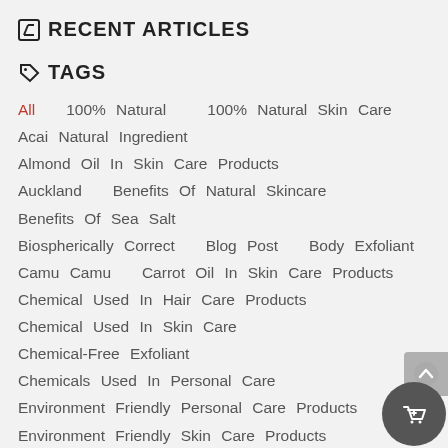✏ RECENT ARTICLES
🏷 TAGS
All  100% Natural  100% Natural Skin Care  Acai Natural Ingredient  Almond Oil In Skin Care Products  Auckland  Benefits Of Natural Skincare  Benefits Of Sea Salt  Biospherically Correct  Blog Post  Body Exfoliant  Camu Camu  Carrot Oil In Skin Care Products  Chemical Used In Hair Care Products  Chemical Used In Skin Care  Chemical-Free Exfoliant  Chemicals Used In Personal Care  Environment Friendly Personal Care Products  Environment Friendly Skin Care Products  Face Cleanser  Face Exfoliant  Face-And-Body-Exfoliant  Face-Superfood  Glowing Skin  Harmful Effects Of Chemical Based C...  Harmful Effects Of Chemical Based Skin Care Produc...  Harmful Effects Of Hair Care Products  Harmful Effects Of Personal Care Rrduts...  Herbal Skin Care